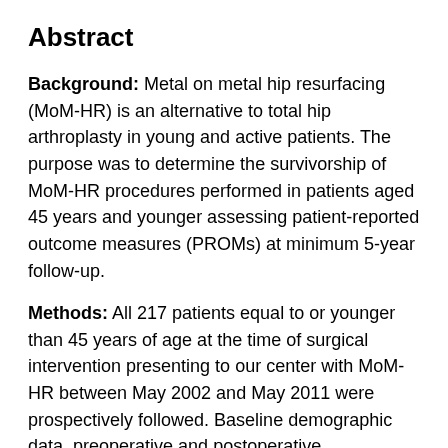Abstract
Background: Metal on metal hip resurfacing (MoM-HR) is an alternative to total hip arthroplasty in young and active patients. The purpose was to determine the survivorship of MoM-HR procedures performed in patients aged 45 years and younger assessing patient-reported outcome measures (PROMs) at minimum 5-year follow-up.
Methods: All 217 patients equal to or younger than 45 years of age at the time of surgical intervention presenting to our center with MoM-HR between May 2002 and May 2011 were prospectively followed. Baseline demographic data, preoperative and postoperative radiographic measurements, and validated PROMs were obtained (Hip Disability and Osteoarthritis Outcome Score, Western Ontario and McMaster Universities Osteoarthritis Index, and University of